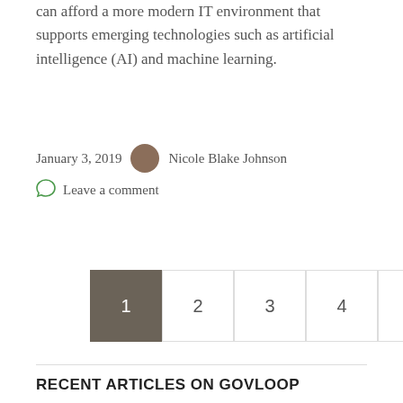...sat down with GovLoop to explain how agencies can afford a more modern IT environment that supports emerging technologies such as artificial intelligence (AI) and machine learning.
January 3, 2019   Nicole Blake Johnson
Leave a comment
1  2  3  4  ...  12  13  14  →
RECENT ARTICLES ON GOVLOOP